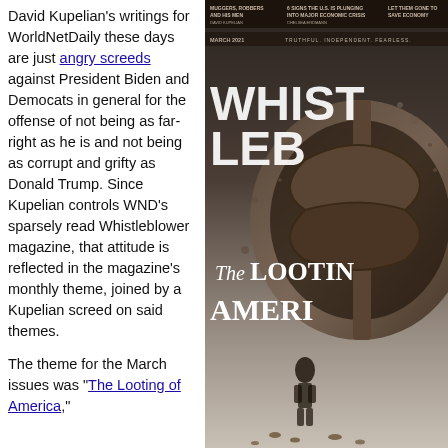David Kupelian's writings for WorldNetDaily these days are just angry screeds against President Biden and Democats in general for the offense of not being as far-right as he is and not being as corrupt and grifty as Donald Trump. Since Kupelian controls WND's sparsely read Whistleblower magazine, that attitude is reflected in the magazine's monthly theme, joined by a Kupelian screed on said themes.
The theme for the March issues was "The Looting of America,"
[Figure (photo): Cover of Whistleblower magazine, March 2021 issue titled 'The Looting of America'. Features a large crumbling dollar sign symbol with a man standing in front of it looking up. Text includes 'MUGGERS, ROBBERS AND HIS MEN', '6 SIGNS THE U.S. IS PLUNGING INTO MAJOR ECONOMIC CRISIS', 'LET THEM GONE TO...', 'TRUTHFUL INDEPENDENT FEARLESS', 'MARCH 2021'.]